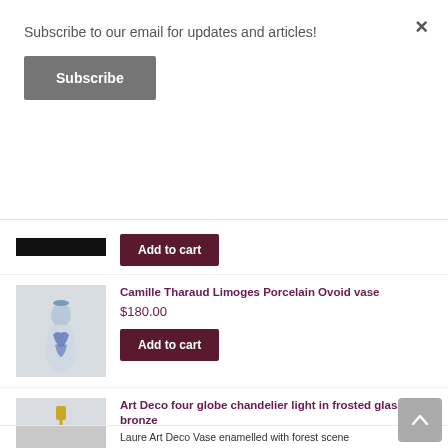Subscribe to our email for updates and articles!
Subscribe
Add to cart
Camille Tharaud Limoges Porcelain Ovoid vase
$180.00
Add to cart
[Figure (photo): Blue and white porcelain ovoid vase]
Art Deco four globe chandelier light in frosted glass and bronze
$800.00
Add to cart
[Figure (photo): Art Deco brass chandelier with frosted glass globe shades]
Laure Art Deco Vase enamelled with forest scene